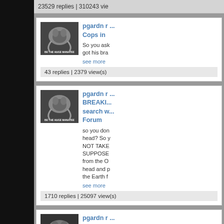23529 replies | 310243 view
pgardn r ... Cops in ... So you ask got his bra... see more
43 replies | 2379 view(s)
pgardn r ... BREAKIN... search w... Forum
so you don head? So y NOT TAKE SUPPOSE from the O head and p the Earth f see more
1710 replies | 25097 view(s)
pgardn r ... Ukraine
[Figure (photo): Black and white photo of what appears to be a manatee or marine animal, with text overlay reading 'BE THE HUGE MANATEE']
[Figure (photo): Black and white photo of what appears to be a manatee or marine animal, with text overlay reading 'BE THE HUGE MANATEE']
[Figure (photo): Black and white photo of what appears to be a manatee or marine animal]